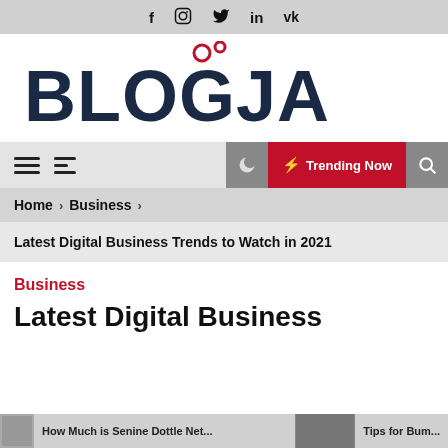Social media icons: f  Instagram  Twitter  in  vk
[Figure (logo): BLOGJAB logo with red circular bubbles above the O and G letters, dark navy bold text]
Navigation bar with hamburger menus, moon icon, Trending Now button, search icon
Home > Business >
Latest Digital Business Trends to Watch in 2021
Business
Latest Digital Busines...
How Much is Senine Dottle Net...
Tips for Bum...